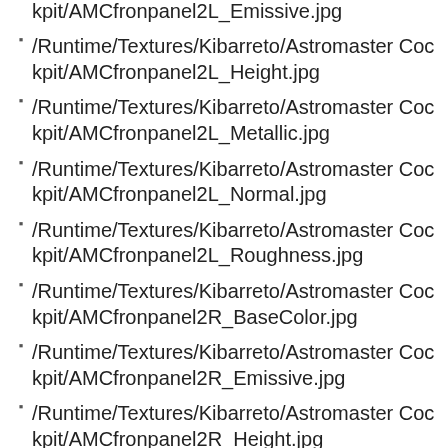/Runtime/Textures/Kibarreto/Astromaster Cockpit/AMCfronpanel2L_Emissive.jpg
/Runtime/Textures/Kibarreto/Astromaster Cockpit/AMCfronpanel2L_Height.jpg
/Runtime/Textures/Kibarreto/Astromaster Cockpit/AMCfronpanel2L_Metallic.jpg
/Runtime/Textures/Kibarreto/Astromaster Cockpit/AMCfronpanel2L_Normal.jpg
/Runtime/Textures/Kibarreto/Astromaster Cockpit/AMCfronpanel2L_Roughness.jpg
/Runtime/Textures/Kibarreto/Astromaster Cockpit/AMCfronpanel2R_BaseColor.jpg
/Runtime/Textures/Kibarreto/Astromaster Cockpit/AMCfronpanel2R_Emissive.jpg
/Runtime/Textures/Kibarreto/Astromaster Cockpit/AMCfronpanel2R_Height.jpg
/Runtime/Textures/Kibarreto/Astromaster Cockpit/AMCfronpanel2R_Metallic.jpg
/Runtime/Textures/Kibarreto/Astromaster Cockpit/AMCfronpanel2R_Normal.jpg
/Runtime/Textures/Kibarreto/Astromaster